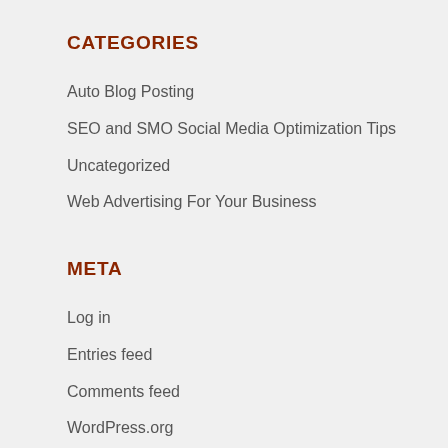CATEGORIES
Auto Blog Posting
SEO and SMO Social Media Optimization Tips
Uncategorized
Web Advertising For Your Business
META
Log in
Entries feed
Comments feed
WordPress.org